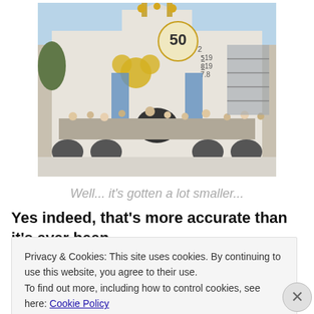[Figure (photo): Exterior facade of the 'It's a Small World' attraction at Disneyland, showing the ornate white and gold clock tower, Mickey Mouse emblem, colorful figurines, and arched entrance tunnels.]
Well... it's gotten a lot smaller...
Yes indeed, that's more accurate than it's ever been.
With the world (excluding those at least directly walled off)
Privacy & Cookies: This site uses cookies. By continuing to use this website, you agree to their use.
To find out more, including how to control cookies, see here: Cookie Policy
Close and accept